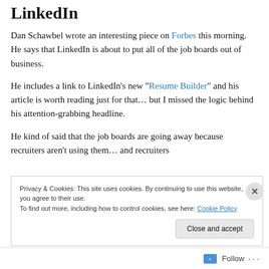LinkedIn
Dan Schawbel wrote an interesting piece on Forbes this morning.  He says that LinkedIn is about to put all of the job boards out of business.
He includes a link to LinkedIn’s new “Resume Builder” and his article is worth reading just for that… but I missed the logic behind his attention-grabbing headline.
He kind of said that the job boards are going away because recruiters aren’t using them… and recruiters
Privacy & Cookies: This site uses cookies. By continuing to use this website, you agree to their use.
To find out more, including how to control cookies, see here: Cookie Policy
Close and accept
Follow ...